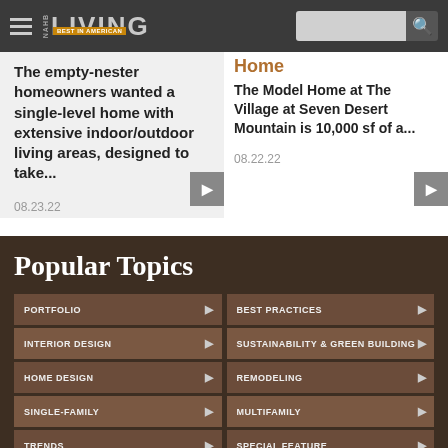NAHB LIVING - Best in American
The empty-nester homeowners wanted a single-level home with extensive indoor/outdoor living areas, designed to take...
08.23.22
Home
The Model Home at The Village at Seven Desert Mountain is 10,000 sf of a...
08.22.22
Popular Topics
PORTFOLIO
BEST PRACTICES
INTERIOR DESIGN
SUSTAINABILITY & GREEN BUILDING
HOME DESIGN
REMODELING
SINGLE-FAMILY
MULTIFAMILY
TRENDS
SPECIAL FEATURE
COMMUNITY DESIGN
DETAIL